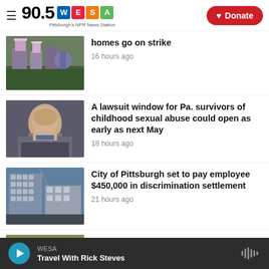90.5 WESA — Pittsburgh's NPR News Station — Donate
[Figure (photo): Protest/strike scene with people holding signs outdoors]
homes go on strike
16 hours ago
[Figure (photo): Man in suit, appears to be a politician or official]
A lawsuit window for Pa. survivors of childhood sexual abuse could open as early as next May
18 hours ago
[Figure (photo): City building/skyscraper in Pittsburgh]
City of Pittsburgh set to pay employee $450,000 in discrimination settlement
21 hours ago
[Figure (photo): Crowd at a sports stadium, yellow and blue colors]
Pitt defeats West Virginia in Backyard Brawl, 38-31, after late interception
WESA — Travel With Rick Steves